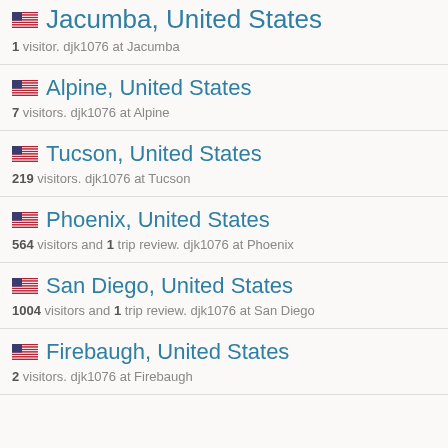Jacumba, United States — 1 visitor. djk1076 at Jacumba
Alpine, United States — 7 visitors. djk1076 at Alpine
Tucson, United States — 219 visitors. djk1076 at Tucson
Phoenix, United States — 564 visitors and 1 trip review. djk1076 at Phoenix
San Diego, United States — 1004 visitors and 1 trip review. djk1076 at San Diego
Firebaugh, United States — 2 visitors. djk1076 at Firebaugh